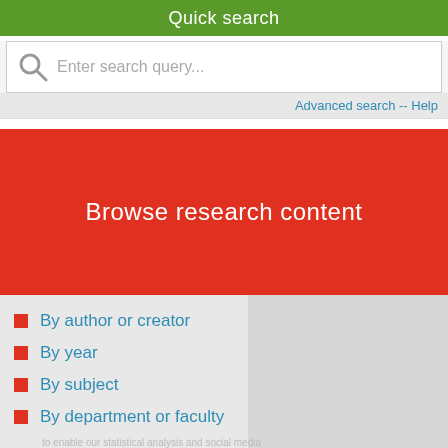Quick search
Enter search query...
Advanced search -- Help
Browse research content
By author or creator
By year
By subject
By department or faculty
[Figure (screenshot): Blue footer bar at bottom of page]